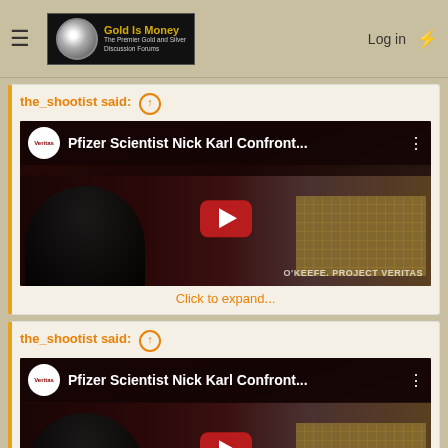Gold Is Money – The Premier Gold and Silver Discussion Forums
the_shootist said: ↑
[Figure (screenshot): YouTube video thumbnail for 'Pfizer Scientist Nick Karl Confront...' from Project Veritas channel, showing two dark-silhouetted figures and a pixelated area, with a red play button in the center. Watermark: O'KEEFE. PROJECT VERITAS]
Click to expand...
the_shootist said: ↑
[Figure (screenshot): Second YouTube video thumbnail for 'Pfizer Scientist Nick Karl Confront...' from Project Veritas channel, identical to first. With scroll up/down buttons on the right. Watermark: O'KEEFE. PROJECT VERITAS]
Click to expand...